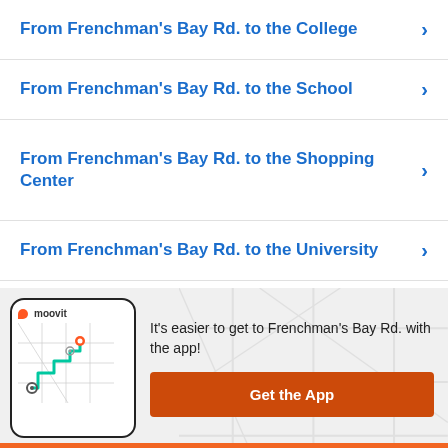From Frenchman's Bay Rd. to the College
From Frenchman's Bay Rd. to the School
From Frenchman's Bay Rd. to the Shopping Center
From Frenchman's Bay Rd. to the University
From Frenchman's Bay Rd. to the Airport
From Frenchman's Bay Rd. to the Hospital
[Figure (screenshot): Moovit app promotional banner with phone screenshot showing route map and 'Get the App' button]
It's easier to get to Frenchman's Bay Rd. with the app!